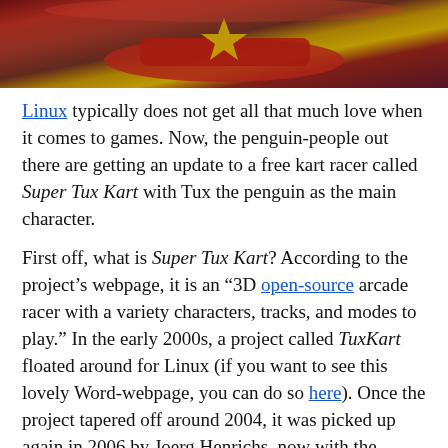[Figure (photo): Top portion of a racing kart game screenshot showing red kart with yellow star emblem on a dark purple background]
Linux typically does not get all that much love when it comes to games. Now, the penguin-people out there are getting an update to a free kart racer called Super Tux Kart with Tux the penguin as the main character.

First off, what is Super Tux Kart? According to the project’s webpage, it is an “3D open-source arcade racer with a variety characters, tracks, and modes to play.” In the early 2000s, a project called TuxKart floated around for Linux (if you want to see this lovely Word-webpage, you can do so here). Once the project tapered off around 2004, it was picked up again in 2006 by Joerg Henrichs, now with the moniker of “Super Tux Kart.” Over time, updates continued to be added as the team for Super Tux Kart grew. New maps, stories, and a whole game engine got added to this once small project. The game now features a whole host of open-source project mascots, such as the mascots for